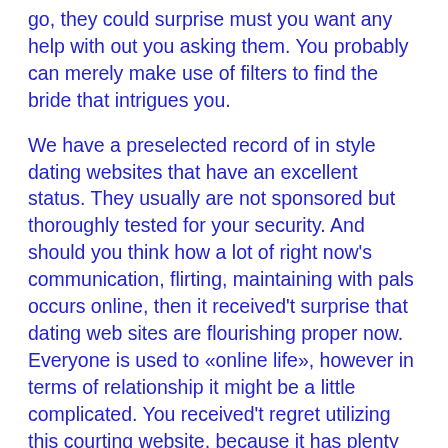go, they could surprise must you want any help with out you asking them. You probably can merely make use of filters to find the bride that intrigues you.
We have a preselected record of in style dating websites that have an excellent status. They usually are not sponsored but thoroughly tested for your security. And should you think how a lot of right now's communication, flirting, maintaining with pals occurs online, then it received't surprise that dating web sites are flourishing proper now. Everyone is used to «online life», however in terms of relationship it might be a little complicated. You received't regret utilizing this courting website, because it has plenty of beautiful Chilean mail order brides looking for critical relationship. It provides glorious communication features, corresponding to stay chatting, emailing, instant chatting and gifting.